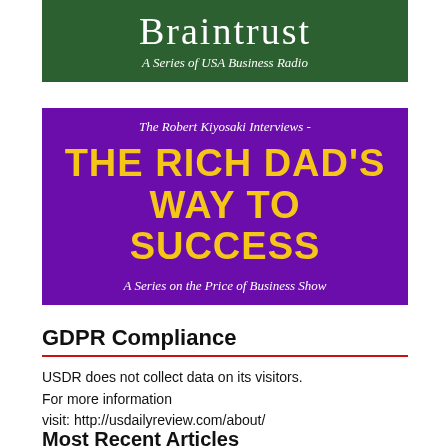[Figure (logo): Braintrust - A Series of USA Business Radio banner on dark green background]
[Figure (illustration): The Robert Kiyosaki Interviews - THE RICH DAD'S WAY TO SUCCESS - A Series on the Price of Business Show, purple banner with yellow bold text]
GDPR Compliance
USDR does not collect data on its visitors. For more information visit: http://usdailyreview.com/about/
Most Recent Articles